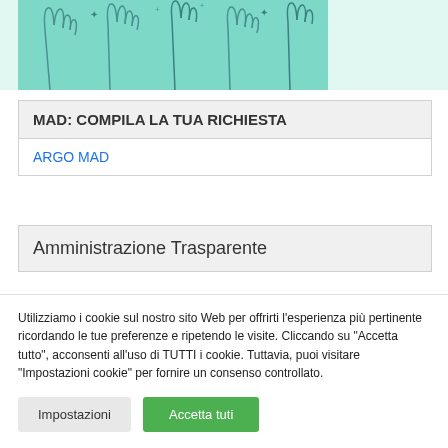[Figure (illustration): Illustration of multiple hands raised up against a teal/mint green background, drawn in a sketch style]
MAD: COMPILA LA TUA RICHIESTA
ARGO MAD
Amministrazione Trasparente
Utilizziamo i cookie sul nostro sito Web per offrirti l'esperienza più pertinente ricordando le tue preferenze e ripetendo le visite. Cliccando su "Accetta tutto", acconsenti all'uso di TUTTI i cookie. Tuttavia, puoi visitare "Impostazioni cookie" per fornire un consenso controllato.
Impostazioni | Accetta tuti